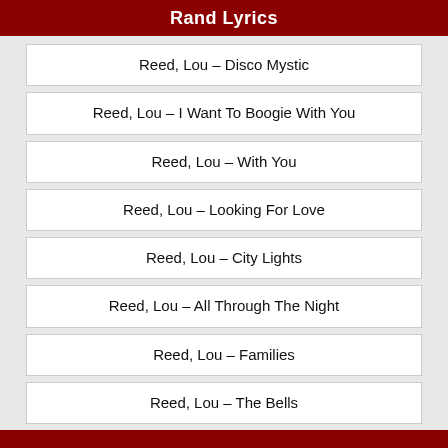Rand Lyrics
Reed, Lou – Disco Mystic
Reed, Lou – I Want To Boogie With You
Reed, Lou – With You
Reed, Lou – Looking For Love
Reed, Lou – City Lights
Reed, Lou – All Through The Night
Reed, Lou – Families
Reed, Lou – The Bells
Reed, Lou – How Do You Speak To An Angel